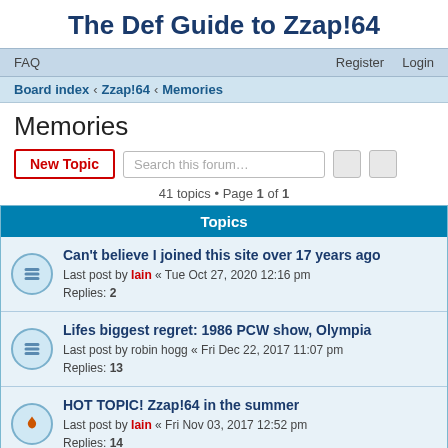The Def Guide to Zzap!64
FAQ  Register  Login
Board index › Zzap!64 › Memories
Memories
41 topics • Page 1 of 1
| Topics |
| --- |
| Can't believe I joined this site over 17 years ago
Last post by Iain « Tue Oct 27, 2020 12:16 pm
Replies: 2 |
| Lifes biggest regret: 1986 PCW show, Olympia
Last post by robin hogg « Fri Dec 22, 2017 11:07 pm
Replies: 13 |
| HOT TOPIC! Zzap!64 in the summer
Last post by Iain « Fri Nov 03, 2017 12:52 pm
Replies: 14 |
| Worst Memory
Last post by kalsolar « Sat May 06, 2017 2:22 pm
Replies: 47 |
| All I want to say is... |